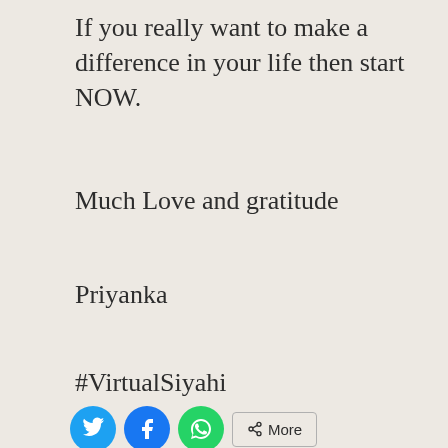If you really want to make a difference in your life then start NOW.
Much Love and gratitude
Priyanka
#VirtualSiyahi
Like it? Share it